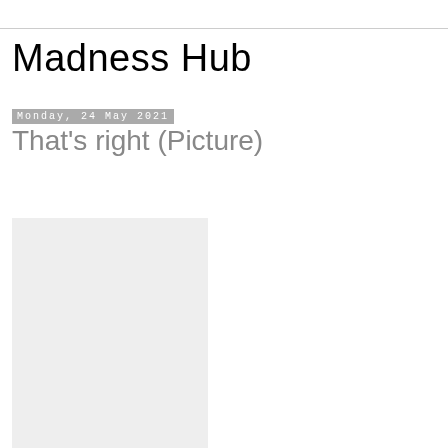Madness Hub
Monday, 24 May 2021
That's right (Picture)
[Figure (photo): A light gray rectangular photo placeholder box in the lower left portion of the page]